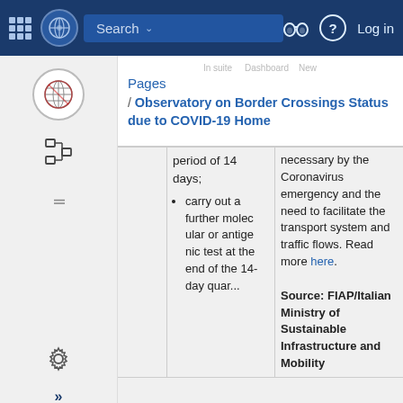Search | Log in
Pages
/ Observatory on Border Crossings Status due to COVID-19 Home
|  | period of 14 days; carry out a further molecular or antigenic test at the end of the 14-day... | necessary by the Coronavirus emergency and the need to facilitate the transport system and traffic flows. Read more here. Source: FIAP/Italian Ministry of Sustainable Infrastructure and Mobility |
| --- | --- | --- |
|  | period of 14 days;
carry out a further molecular or antigenic test at the end of the 14-day... | necessary by the Coronavirus emergency and the need to facilitate the transport system and traffic flows. Read more here.

Source: FIAP/Italian Ministry of Sustainable Infrastructure and Mobility |